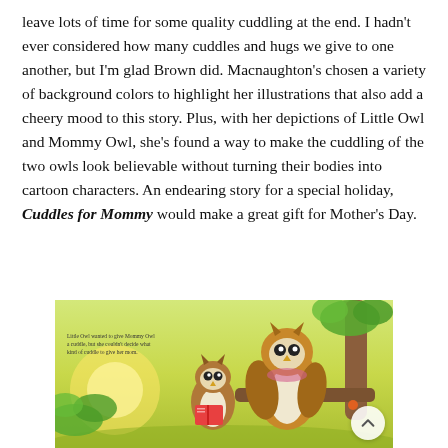leave lots of time for some quality cuddling at the end. I hadn't ever considered how many cuddles and hugs we give to one another, but I'm glad Brown did. Macnaughton's chosen a variety of background colors to highlight her illustrations that also add a cheery mood to this story. Plus, with her depictions of Little Owl and Mommy Owl, she's found a way to make the cuddling of the two owls look believable without turning their bodies into cartoon characters. An endearing story for a special holiday, Cuddles for Mommy would make a great gift for Mother's Day.
[Figure (illustration): Illustration from the children's book 'Cuddles for Mommy' showing two owls — a small young owl and a larger Mommy Owl — perched on a branch in a warm golden-green outdoor scene. Text in the upper left reads: 'Little Owl wanted to give Mommy Owl a cuddle, but she couldn't decide what kind of cuddle to give her mom.']